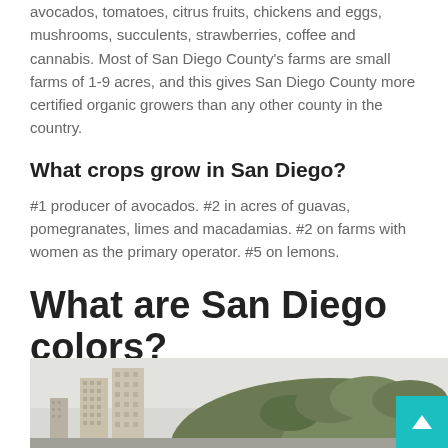avocados, tomatoes, citrus fruits, chickens and eggs, mushrooms, succulents, strawberries, coffee and cannabis. Most of San Diego County’s farms are small farms of 1-9 acres, and this gives San Diego County more certified organic growers than any other county in the country.
What crops grow in San Diego?
#1 producer of avocados. #2 in acres of guavas, pomegranates, limes and macadamias. #2 on farms with women as the primary operator. #5 on lemons.
What are San Diego colors?
[Figure (photo): Partial view of San Diego cityscape showing tall buildings on the left and a green hillside with residential buildings on the right, with a light sky background.]